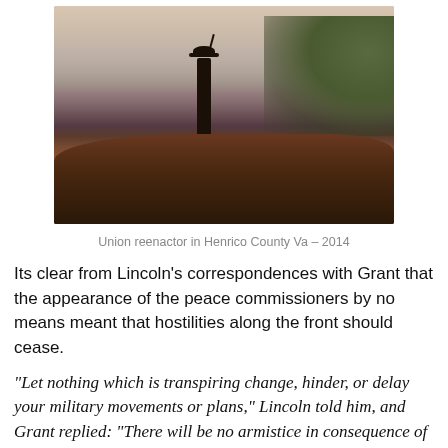[Figure (photo): A Union reenactor silhouetted on a dirt mound against a misty, hazy sky with trees in the background, holding a rifle, wearing a wide-brimmed hat. Henrico County, Virginia, 2014.]
Union reenactor in Henrico County Va – 2014
Its clear from Lincoln's correspondences with Grant that the appearance of the peace commissioners by no means meant that hostilities along the front should cease.
“Let nothing which is transpiring change, hinder, or delay your military movements or plans,” Lincoln told him, and Grant replied: “There will be no armistice in consequence of the presence of Mr Stephens and others within our